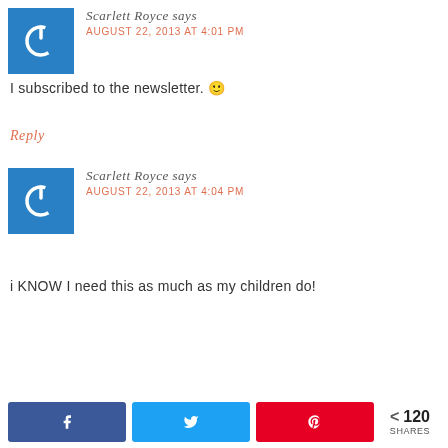[Figure (illustration): Blue square avatar with white power/on button icon]
Scarlett Royce says
AUGUST 22, 2013 AT 4:01 PM
I subscribed to the newsletter. 🙂
Reply
[Figure (illustration): Blue square avatar with white power/on button icon]
Scarlett Royce says
AUGUST 22, 2013 AT 4:04 PM
i KNOW I need this as much as my children do!
[Figure (infographic): Social share bar with Facebook, Twitter, Pinterest buttons and share count of 120]